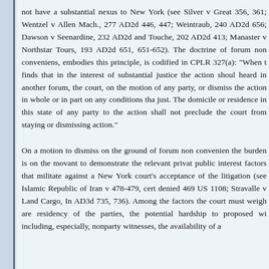not have a substantial nexus to New York (see Silver v Great 356, 361; Wentzel v Allen Mach., 277 AD2d 446, 447; Weintraub, 240 AD2d 656; Dawson v Seenardine, 232 AD2d and Touche, 202 AD2d 413; Manaster v Northstar Tours, 193 AD2d 651, 651-652). The doctrine of forum non conveniens, embodies this principle, is codified in CPLR 327(a): "When the court finds that in the interest of substantial justice the action should be heard in another forum, the court, on the motion of any party, may stay or dismiss the action in whole or in part on any conditions that may be just. The domicile or residence in this state of any party to the action shall not preclude the court from staying or dismissing the action."
On a motion to dismiss on the ground of forum non conveniens, the burden is on the movant to demonstrate the relevant private and public interest factors that militate against a New York court's acceptance of the litigation (see Islamic Republic of Iran v 478-479, cert denied 469 US 1108; Stravalle v Land Cargo, Inc., AD3d 735, 736). Among the factors the court must weigh are the residency of the parties, the potential hardship to proposed witnesses, including, especially, nonparty witnesses, the availability of an